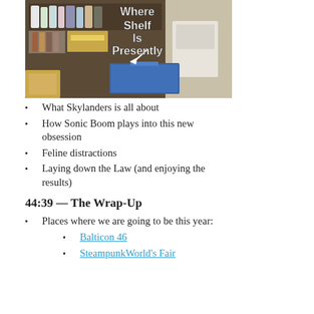[Figure (photo): Photograph of a cluttered shelf with boxes, books, and bottles. White bold text overlaid reads 'Where Shelf Is Presently' with an arrow pointing to a blue storage box.]
What Skylanders is all about
How Sonic Boom plays into this new obsession
Feline distractions
Laying down the Law (and enjoying the results)
44:39 — The Wrap-Up
Places where we are going to be this year:
Balticon 46
SteampunkWorld's Fair